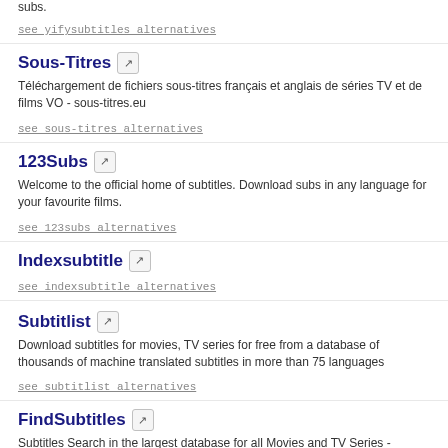subs.
see yifysubtitles alternatives
Sous-Titres
Téléchargement de fichiers sous-titres français et anglais de séries TV et de films VO - sous-titres.eu
see sous-titres alternatives
123Subs
Welcome to the official home of subtitles. Download subs in any language for your favourite films.
see 123subs alternatives
Indexsubtitle
see indexsubtitle alternatives
Subtitlist
Download subtitles for movies, TV series for free from a database of thousands of machine translated subtitles in more than 75 languages
see subtitlist alternatives
FindSubtitles
Subtitles Search in the largest database for all Movies and TV Series - Findsubtitles.eu
see findsubtitles alternatives